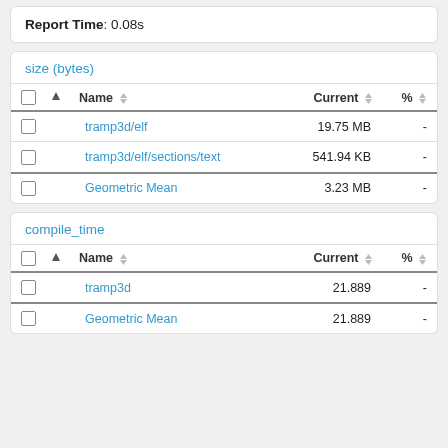Report Time: 0.08s
size (bytes)
|  |  | Name |  | Current |  | % |  |
| --- | --- | --- | --- | --- | --- | --- | --- |
|  |  | tramp3d/elf |  | 19.75 MB |  | - |  |
|  |  | tramp3d/elf/sections/text |  | 541.94 KB |  | - |  |
|  |  | Geometric Mean |  | 3.23 MB |  | - |  |
compile_time
|  |  | Name |  | Current |  | % |  |
| --- | --- | --- | --- | --- | --- | --- | --- |
|  |  | tramp3d |  | 21.889 |  | - |  |
|  |  | Geometric Mean |  | 21.889 |  | - |  |